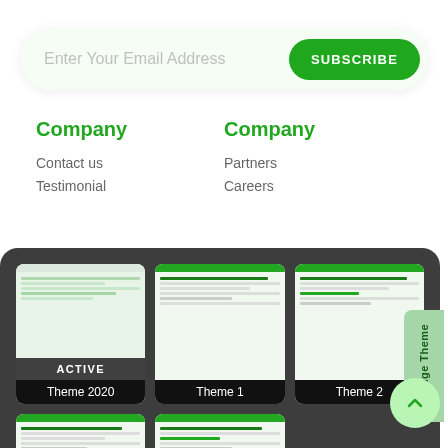Enter Your Email Address
SUBSCRIBE
Company
Company
Contact us
Testimonial
Partners
Careers
[Figure (screenshot): Theme switcher panel showing 5 website themes: Theme 2020 (ACTIVE), Theme 1, Theme 2, Theme 3, Theme 4, with a Change Theme sidebar tab and an up-arrow scroll button]
Change Theme